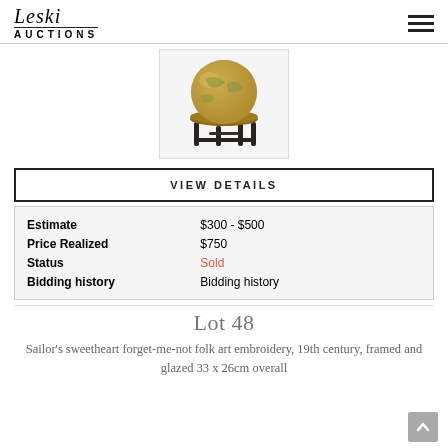Leski AUCTIONS
[Figure (photo): A small antique terrestrial globe on a dark wooden stand with turned legs, displayed in a white bordered box]
VIEW DETAILS
| Estimate | $300 - $500 |
| Price Realized | $750 |
| Status | Sold |
| Bidding history | Bidding history |
Lot 48
Sailor's sweetheart forget-me-not folk art embroidery, 19th century, framed and glazed 33 x 26cm overall